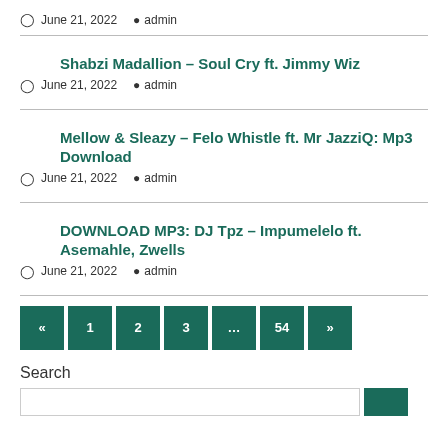June 21, 2022  admin
Shabzi Madallion – Soul Cry ft. Jimmy Wiz
June 21, 2022  admin
Mellow & Sleazy – Felo Whistle ft. Mr JazziQ: Mp3 Download
June 21, 2022  admin
DOWNLOAD MP3: DJ Tpz – Impumelelo ft. Asemahle, Zwells
June 21, 2022  admin
« 1 2 3 ... 54 »
Search